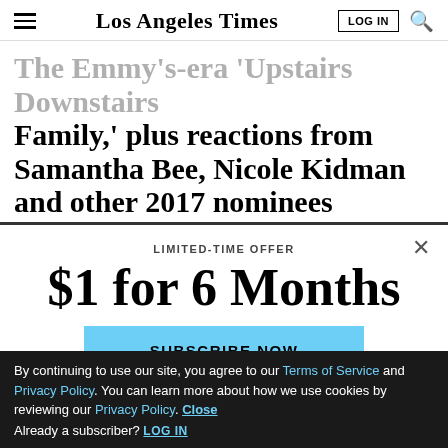Los Angeles Times | LOG IN
Family,' plus reactions from Samantha Bee, Nicole Kidman and other 2017 nominees
[Figure (screenshot): Social share buttons: Facebook (blue), Twitter (blue), Share (outlined)]
LIMITED-TIME OFFER
$1 for 6 Months
SUBSCRIBE NOW
By continuing to use our site, you agree to our Terms of Service and Privacy Policy. You can learn more about how we use cookies by reviewing our Privacy Policy. Close
Already a subscriber? LOG IN